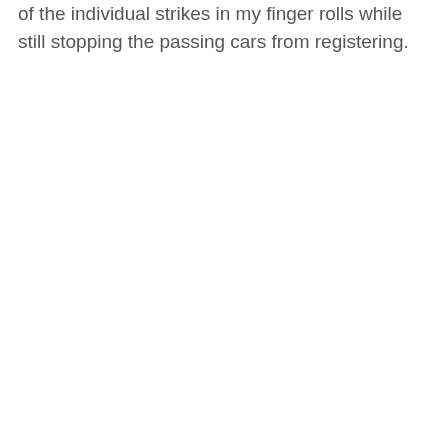of the individual strikes in my finger rolls while still stopping the passing cars from registering.